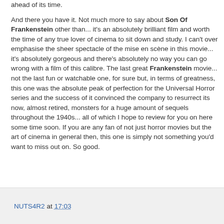ahead of its time.
And there you have it. Not much more to say about Son Of Frankenstein other than... it's an absolutely brilliant film and worth the time of any true lover of cinema to sit down and study. I can't over emphasise the sheer spectacle of the mise en scène in this movie... it's absolutely gorgeous and there's absolutely no way you can go wrong with a film of this calibre. The last great Frankenstein movie... not the last fun or watchable one, for sure but, in terms of greatness, this one was the absolute peak of perfection for the Universal Horror series and the success of it convinced the company to resurrect its now, almost retired, monsters for a huge amount of sequels throughout the 1940s... all of which I hope to review for you on here some time soon. If you are any fan of not just horror movies but the art of cinema in general then, this one is simply not something you'd want to miss out on. So good.
NUTS4R2 at 17:03